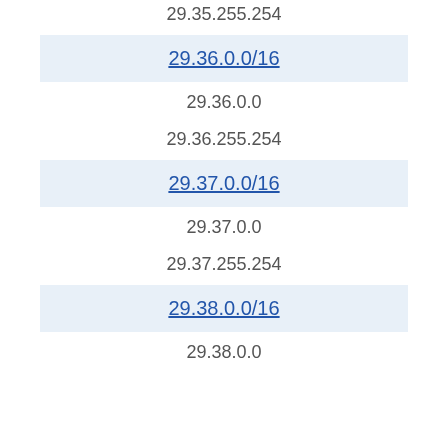29.35.255.254
29.36.0.0/16
29.36.0.0
29.36.255.254
29.37.0.0/16
29.37.0.0
29.37.255.254
29.38.0.0/16
29.38.0.0